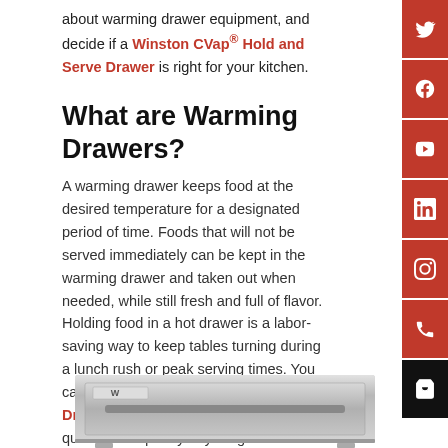about warming drawer equipment, and decide if a Winston CVap® Hold and Serve Drawer is right for your kitchen.
What are Warming Drawers?
A warming drawer keeps food at the desired temperature for a designated period of time. Foods that will not be served immediately can be kept in the warming drawer and taken out when needed, while still fresh and full of flavor. Holding food in a hot drawer is a labor-saving way to keep tables turning during a lunch rush or peak serving times. You can be sure that a CVap Hold and Serve Drawer in your kitchen means serving quality food quickly to your guests.
[Figure (photo): Product photo of a Winston CVap Hold and Serve Drawer unit, stainless steel appliance shown at bottom of page.]